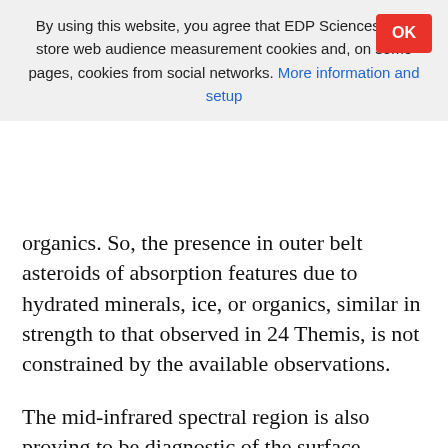By using this website, you agree that EDP Sciences may store web audience measurement cookies and, on some pages, cookies from social networks. More information and setup
organics. So, the presence in outer belt asteroids of absorption features due to hydrated minerals, ice, or organics, similar in strength to that observed in 24 Themis, is not constrained by the available observations.
The mid-infrared spectral region is also proving to be diagnostic of the surface composition of primitive asteroids, and in ways complementary to the shorter wavelengths (e.g., Cohen et al. 1998; Müller & Blommaert 2004; Lim et al. 2005; Emery et al. 2006; Campins et al. 2007). The three published mid-infrared spectra, from 5 to 38 μm of Trojan asteroids (Emery et al. 2006) exhibit clear emissivity features from which